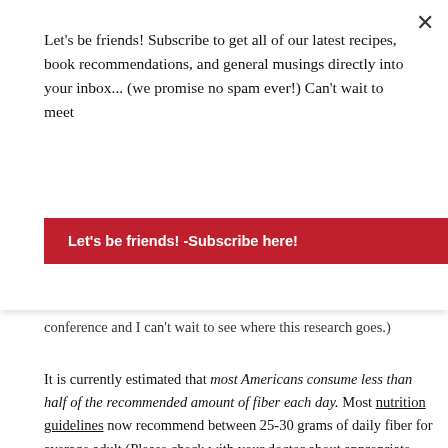Let's be friends! Subscribe to get all of our latest recipes, book recommendations, and general musings directly into your inbox... (we promise no spam ever!) Can't wait to meet
Let's be friends! -Subscribe here!
conference and I can't wait to see where this research goes.)
It is currently estimated that most Americans consume less than half of the recommended amount of fiber each day. Most nutrition guidelines now recommend between 25-30 grams of daily fiber for average adult (Please check with your doctor about appropriate individual levels).
FIBER RICH FOODS & RECIPES
Now that you know a little more about all the fuss about fiber, how do you easily increase your intake to reap all of those benefits?